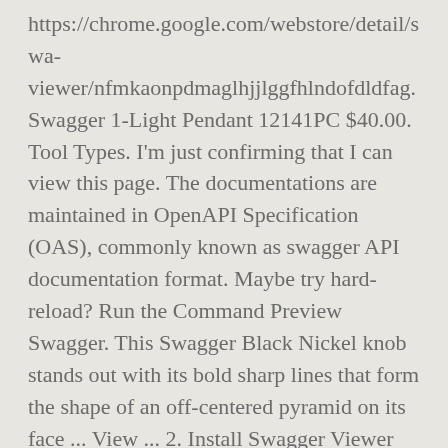https://chrome.google.com/webstore/detail/swagger/nfmkaonpdmaglhjjlggfhlndofdldfag. Swagger 1-Light Pendant 12141PC $40.00. Tool Types. I'm just confirming that I can view this page. The documentations are maintained in OpenAPI Specification (OAS), commonly known as swagger API documentation format. Maybe try hard-reload? Run the Command Preview Swagger. This Swagger Black Nickel knob stands out with its bold sharp lines that form the shape of an off-centered pyramid on its face ... View ... 2. Install Swagger Viewer Chrome ... Open the swagger file and press F1. Preview it in vscode Itself like this https://chrome.google.com/webstore/detail/swagger/nfmkaonpdmaglhjjlggfhlndofdldfag